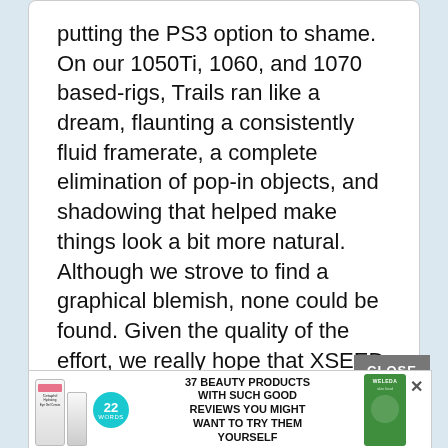putting the PS3 option to shame. On our 1050Ti, 1060, and 1070 based-rigs, Trails ran like a dream, flaunting a consistently fluid framerate, a complete elimination of pop-in objects, and shadowing that helped make things look a bit more natural. Although we strove to find a graphical blemish, none could be found. Given the quality of the effort, we really hope that XSEED makes it an effort to keep Durante on the company payroll.
[Figure (other): Advertisement banner for '37 Beauty Products With Such Good Reviews You Might Want To Try Them Yourself' featuring Cetaphil and Weleda product images and a teal badge with '22 words'. Has a CLOSE button and an X dismiss button.]